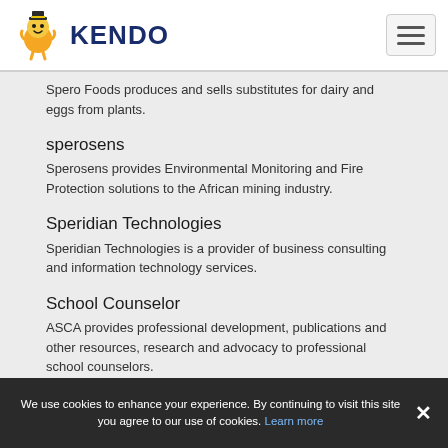KENDO
Spero Foods produces and sells substitutes for dairy and eggs from plants.
sperosens
Sperosens provides Environmental Monitoring and Fire Protection solutions to the African mining industry.
Speridian Technologies
Speridian Technologies is a provider of business consulting and information technology services.
School Counselor
ASCA provides professional development, publications and other resources, research and advocacy to professional school counselors.
Helix Centre
We use cookies to enhance your experience. By continuing to visit this site you agree to our use of cookies. Learn more